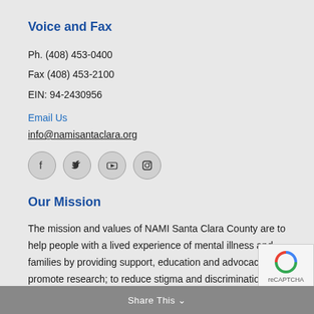Voice and Fax
Ph. (408) 453-0400
Fax (408) 453-2100
EIN: 94-2430956
Email Us
info@namisantaclara.org
[Figure (other): Social media icons: Facebook, Twitter, YouTube, Instagram]
Our Mission
The mission and values of NAMI Santa Clara County are to help people with a lived experience of mental illness and families by providing support, education and advocacy; to promote research; to reduce stigma and discrimination in the community; and to improve services by working with health professionals and families.
Share This